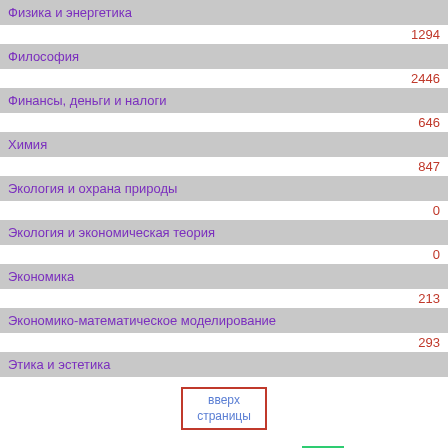Физика и энергетика
1294
Философия
2446
Финансы, деньги и налоги
646
Химия
847
Экология и охрана природы
0
Экология и экономическая теория
0
Экономика
213
Экономико-математическое моделирование
293
Этика и эстетика
вверх страницы
top.mail.ru  Рейтинг@Mail.ru  Copyright © 2010-2015 referatnatemu.com